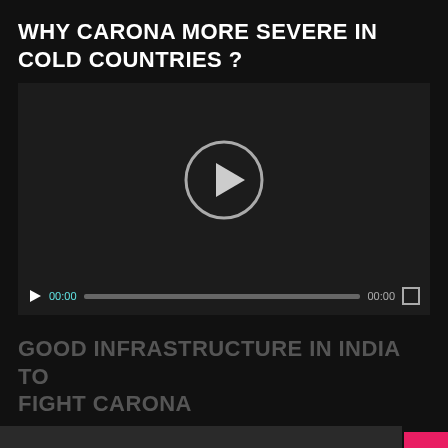WHY CARONA MORE SEVERE IN COLD COUNTRIES ?
[Figure (screenshot): Embedded video player with a large centered play button (circle with triangle), a progress bar at 00:00, and video controls including play button, timestamps, and fullscreen icon on dark background]
GOOD INFRASTRUCTURE IN INDIA TO FIGHT CARONA
[Figure (screenshot): Partial dark video thumbnail strip at the bottom of the page with a pink back-to-top arrow button in the bottom right corner]